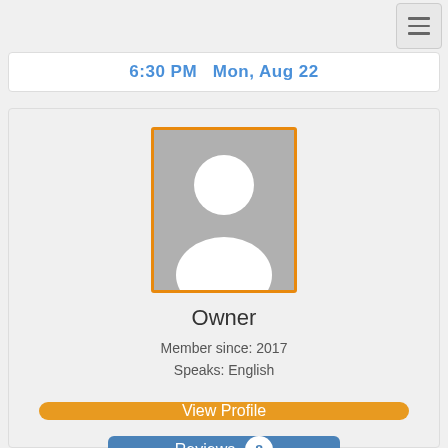6:30 PM  Mon, Aug 22
[Figure (photo): Default user avatar placeholder — grey square with white silhouette of a person, framed by an orange border]
Owner
Member since: 2017
Speaks: English
View Profile
Reviews  8